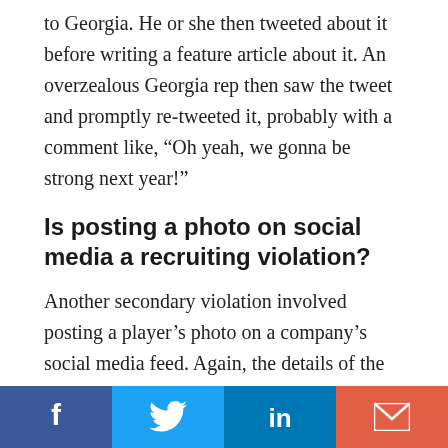to Georgia. He or she then tweeted about it before writing a feature article about it. An overzealous Georgia rep then saw the tweet and promptly re-tweeted it, probably with a comment like, “Oh yeah, we gonna be strong next year!”
Is posting a photo on social media a recruiting violation?
Another secondary violation involved posting a player’s photo on a company’s social media feed. Again, the details of the case have been redacted, but it sounds as if the player in
[Figure (infographic): Social media share bar with four buttons: Facebook (blue), Twitter (light blue), LinkedIn (dark blue), Email (orange-red)]